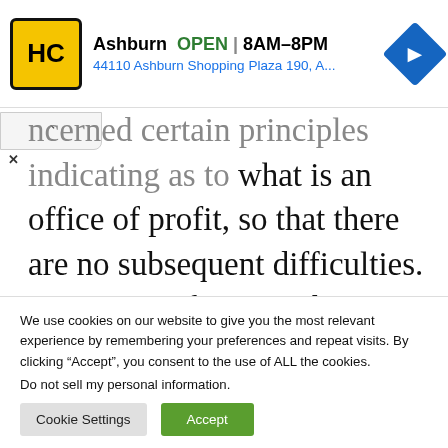[Figure (screenshot): Ad banner for Ashburn HC store with yellow logo, 'Ashburn OPEN | 8AM-8PM', address '44110 Ashburn Shopping Plaza 190, A...', and a blue direction arrow icon]
...oncerned certain principles indicating as to what is an office of profit, so that there are no subsequent difficulties. It consists of 15 members. It scrutinises from time to time Prevention of Disqualification Act, 1959 and recommends amendment to the Schedule...
We use cookies on our website to give you the most relevant experience by remembering your preferences and repeat visits. By clicking “Accept”, you consent to the use of ALL the cookies.
Do not sell my personal information.